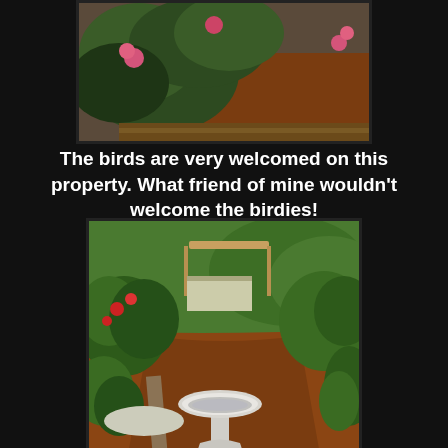[Figure (photo): Garden photo showing rose bushes with pink flowers and red soil/mulch path visible in background]
The birds are very welcomed on this property. What friend of mine wouldn't welcome the birdies!
[Figure (photo): Garden scene with a white birdbath in the foreground, red dirt path, green shrubs, roses, a pergola structure in the background, and lush greenery throughout]